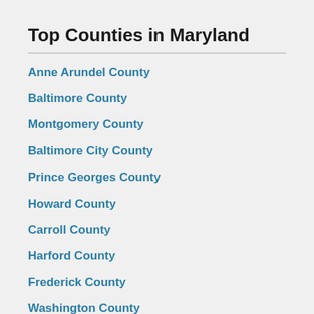Top Counties in Maryland
Anne Arundel County
Baltimore County
Montgomery County
Baltimore City County
Prince Georges County
Howard County
Carroll County
Harford County
Frederick County
Washington County